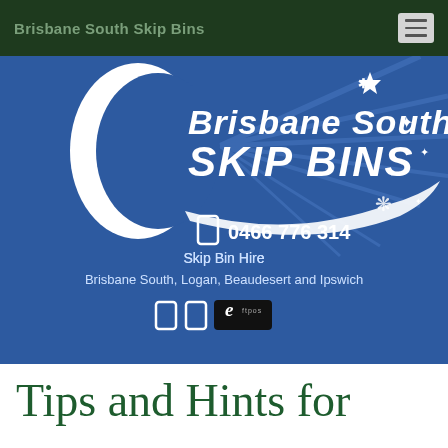Brisbane South Skip Bins
[Figure (logo): Brisbane South Skip Bins logo on blue background with crescent swoosh and stars, phone number 0466 776 314, Skip Bin Hire Brisbane South, Logan, Beaudesert and Ipswich, eftpos badge]
Tips and Hints for